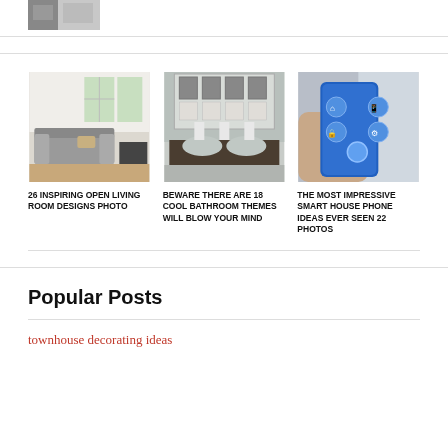[Figure (photo): Small thumbnail image of an interior room, partially visible at top of page]
[Figure (photo): Open living room interior with sofa and large windows]
26 INSPIRING OPEN LIVING ROOM DESIGNS PHOTO
[Figure (photo): Bathroom with double sink vanity and towels hanging]
BEWARE THERE ARE 18 COOL BATHROOM THEMES WILL BLOW YOUR MIND
[Figure (photo): Hand holding smartphone with smart home app interface]
THE MOST IMPRESSIVE SMART HOUSE PHONE IDEAS EVER SEEN 22 PHOTOS
Popular Posts
townhouse decorating ideas